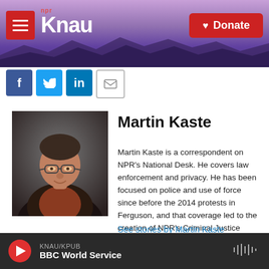[Figure (screenshot): KNAU NPR radio station website header with purple mountain background, red hamburger menu button, KNAU logo in white, and red Donate button]
[Figure (other): Social sharing icons: Facebook (blue), Twitter (blue), LinkedIn (blue), Email (white with border)]
[Figure (photo): Portrait photo of Martin Kaste, a man with glasses wearing a dark jacket]
Martin Kaste
Martin Kaste is a correspondent on NPR's National Desk. He covers law enforcement and privacy. He has been focused on police and use of force since before the 2014 protests in Ferguson, and that coverage led to the creation of NPR's Criminal Justice Collaborative.
See stories by Martin Kaste
KNAU/KPUB BBC World Service